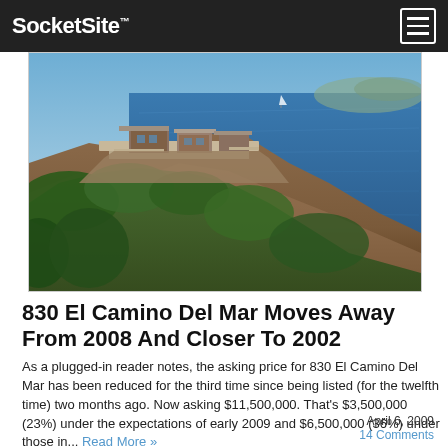SocketSite™
[Figure (photo): Aerial photo of a modernist house built on a rocky coastal cliff overlooking the ocean, surrounded by Mediterranean shrubland, with blue water and distant hills in the background.]
830 El Camino Del Mar Moves Away From 2008 And Closer To 2002
As a plugged-in reader notes, the asking price for 830 El Camino Del Mar has been reduced for the third time since being listed (for the twelfth time) two months ago. Now asking $11,500,000. That's $3,500,000 (23%) under the expectations of early 2009 and $6,500,000 (36%) under those in... Read More »
April 6, 2009
14 Comments